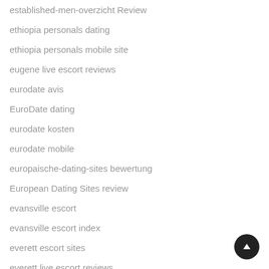established-men-overzicht Review
ethiopia personals dating
ethiopia personals mobile site
eugene live escort reviews
eurodate avis
EuroDate dating
eurodate kosten
eurodate mobile
europaische-dating-sites bewertung
European Dating Sites review
evansville escort
evansville escort index
everett escort sites
everett live escort reviews